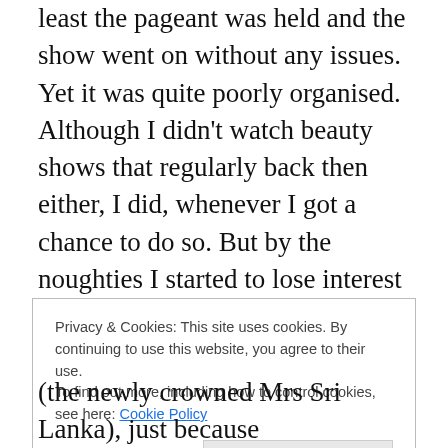least the pageant was held and the show went on without any issues. Yet it was quite poorly organised. Although I didn't watch beauty shows that regularly back then either, I did, whenever I got a chance to do so. But by the noughties I started to lose interest and found quite a few, really cheap. Added to which there was a lot of talk in Sri Lanka about the reason why Indian beauty queens were winning pageants was not because they deserved to but because the west was trying to sell their beauty products in India. What nonsense???? I never bought that, but I found a lot of these contests coming off looking cheap. Not
Privacy & Cookies: This site uses cookies. By continuing to use this website, you agree to their use.
To find out more, including how to control cookies, see here: Cookie Policy
(the newly crowned Mrs Sri Lanka), just because